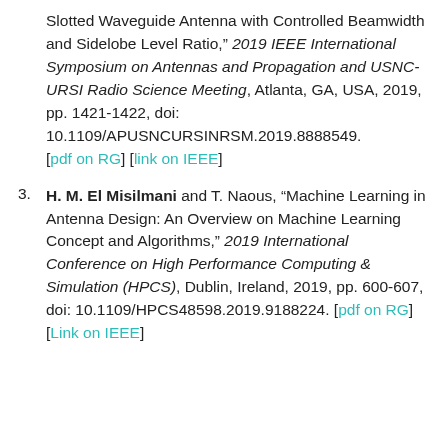Slotted Waveguide Antenna with Controlled Beamwidth and Sidelobe Level Ratio," 2019 IEEE International Symposium on Antennas and Propagation and USNC-URSI Radio Science Meeting, Atlanta, GA, USA, 2019, pp. 1421-1422, doi: 10.1109/APUSNCURSINRSM.2019.8888549. [pdf on RG] [link on IEEE]
H. M. El Misilmani and T. Naous, "Machine Learning in Antenna Design: An Overview on Machine Learning Concept and Algorithms," 2019 International Conference on High Performance Computing & Simulation (HPCS), Dublin, Ireland, 2019, pp. 600-607, doi: 10.1109/HPCS48598.2019.9188224. [pdf on RG] [Link on IEEE]